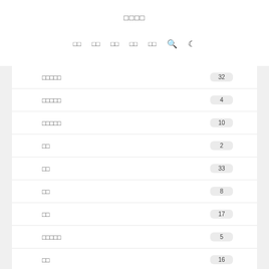□□□□
□□  □□  □□  □□  □□  🔍  🌙
□□□□□  32
□□□□□  4
□□□□□  10
□□  2
□□  33
□□  8
□□  17
□□□□□  5
□□  16
□□  ?